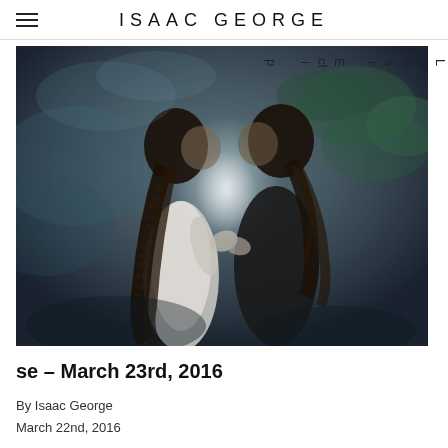ISAAC GEORGE
[Figure (photo): Two people in a romantic close-up scene, a woman in white with long braided hair and a man in dark clothing, nearly touching faces, against a dark atmospheric background with greenery.]
Lunar Eclipse – March 23rd, 2016
By Isaac George
March 22nd, 2016